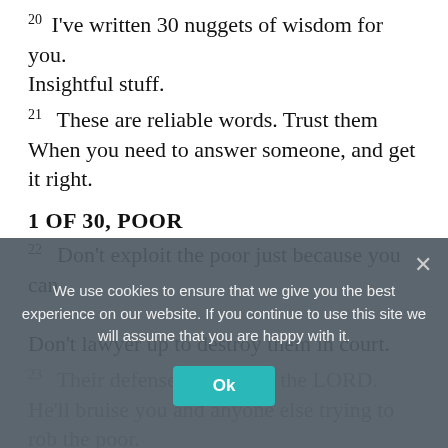20 I've written 30 nuggets of wisdom for you.
Insightful stuff.
21 These are reliable words. Trust them
When you need to answer someone, and get it right.
1 OF 30, POOR
22 Don't exploit the poor just because you can.
Don't lawyer up to destroy them in court.
23 Their defense attorney is the LORD.
He'll bruise you and anyone else trying to rob the poor.
2 OF 30, ANGER
We use cookies to ensure that we give you the best experience on our website. If you continue to use this site we will assume that you are happy with it.